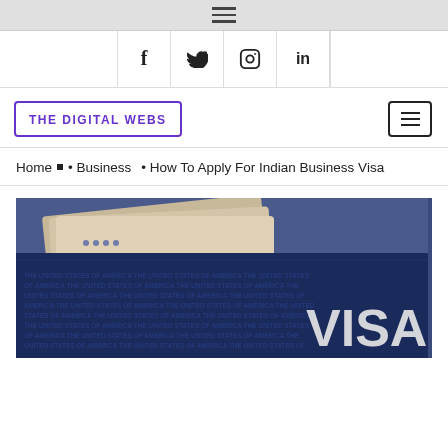hamburger menu icon
f  twitter  instagram  in (social icons)
THE DIGITAL WEBS
Home • Business • How To Apply For Indian Business Visa
[Figure (photo): Close-up photo of passports and a US visa document showing 'THE UNITED STATES OF AMERICA' text and 'VISA' text in large letters]